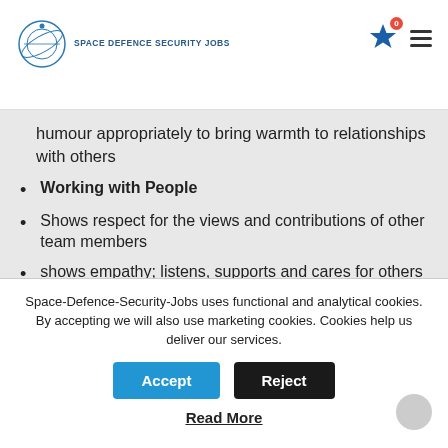SPACE DEFENCE SECURITY JOBS
humour appropriately to bring warmth to relationships with others
Working with People
Shows respect for the views and contributions of other team members
shows empathy; listens, supports and cares for others
consults others and shares information and expertise with them
Space-Defence-Security-Jobs uses functional and analytical cookies. By accepting we will also use marketing cookies. Cookies help us deliver our services.
Accept  Reject
Read More